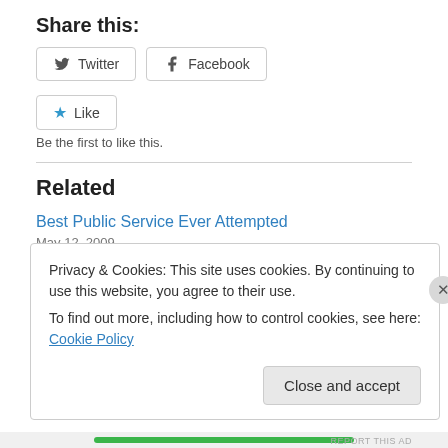Share this:
[Figure (other): Share buttons: Twitter and Facebook]
[Figure (other): Like button with star icon]
Be the first to like this.
Related
Best Public Service Ever Attempted
May 12, 2009
In ""It's a Wonderful Life""
Privacy & Cookies: This site uses cookies. By continuing to use this website, you agree to their use.
To find out more, including how to control cookies, see here: Cookie Policy
Close and accept